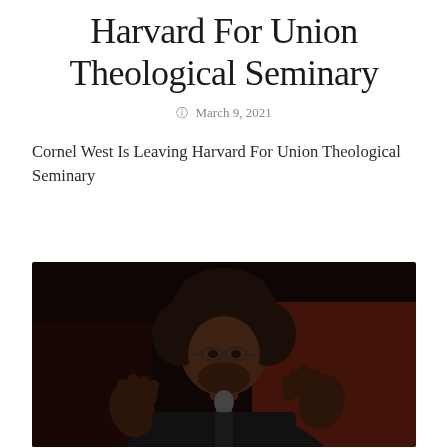Harvard For Union Theological Seminary
March 9, 2021
Cornel West Is Leaving Harvard For Union Theological Seminary
[Figure (photo): Photograph of Cornel West speaking, with his hands raised, against a dark background. He is wearing glasses and a dark suit, with a microphone in front of him.]